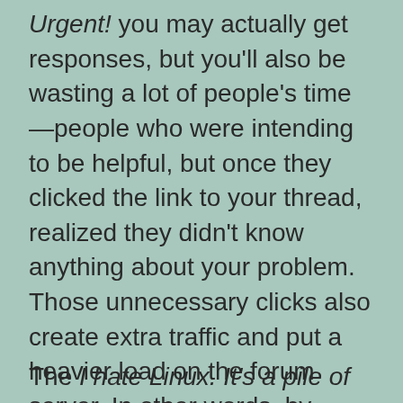Urgent! you may actually get responses, but you'll also be wasting a lot of people's time—people who were intending to be helpful, but once they clicked the link to your thread, realized they didn't know anything about your problem. Those unnecessary clicks also create extra traffic and put a heavier load on the forum server. In other words, by creating a vague title, you're being a parasite and getting a lot of views for the same amount of help at the expense of more people and of the forum owners.
The I hate Linux. It's a pile of crap. I'm going